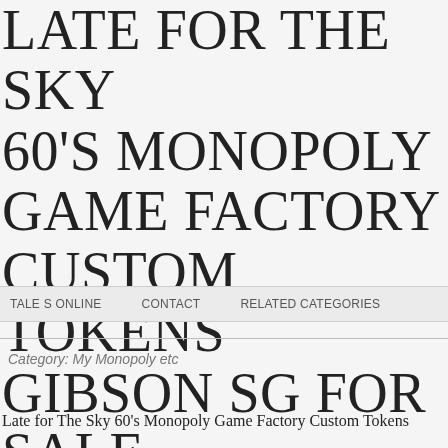LATE FOR THE SKY 60'S MONOPOLY GAME FACTORY CUSTOM TOKENS GIBSON SG FOR SALE ONLINE
TALE S ONLINE   CONTACT   RELATED CATEGORIES
Category: My Monopoly etc
Late for The Sky 60's Monopoly Game Factory Custom Tokens